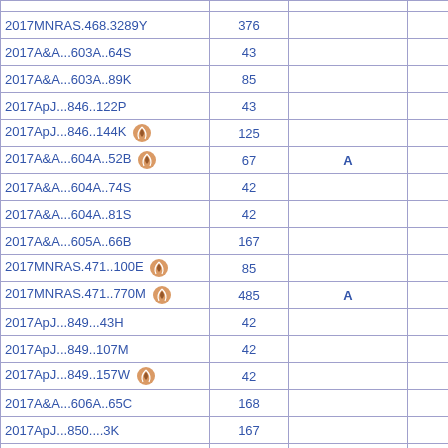|  |  |  |  |
| --- | --- | --- | --- |
| 2017MNRAS.468.3289Y | 376 |  |  |
| 2017A&A...603A..64S | 43 |  |  |
| 2017A&A...603A..89K | 85 |  |  |
| 2017ApJ...846..122P | 43 |  |  |
| 2017ApJ...846..144K [icon] | 125 |  |  |
| 2017A&A...604A..52B [icon] | 67 | A |  |
| 2017A&A...604A..74S | 42 |  |  |
| 2017A&A...604A..81S | 42 |  |  |
| 2017A&A...605A..66B | 167 |  |  |
| 2017MNRAS.471..100E [icon] | 85 |  |  |
| 2017MNRAS.471..770M [icon] | 485 | A |  |
| 2017ApJ...849...43H | 42 |  |  |
| 2017ApJ...849..107M | 42 |  |  |
| 2017ApJ...849..157W [icon] | 42 |  |  |
| 2017A&A...606A..65C | 168 |  |  |
| 2017ApJ...850....3K | 167 |  |  |
| 2017ApJ...850..202R | 42 |  |  |
| [icon] | 351 |  |  |